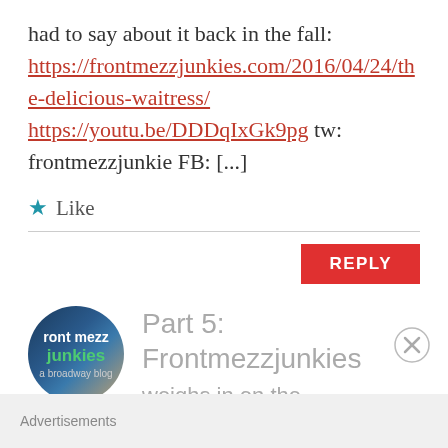had to say about it back in the fall: https://frontmezzjunkies.com/2016/04/24/the-delicious-waitress/ https://youtu.be/DDDqIxGk9pg tw: frontmezzjunkie FB: [...]
★ Like
REPLY
[Figure (logo): Circular avatar for 'front mezz junkies - a broadway blog' with dark blue/bokeh background and green text]
Part 5: Frontmezzjunkies weighs in on the
Advertisements